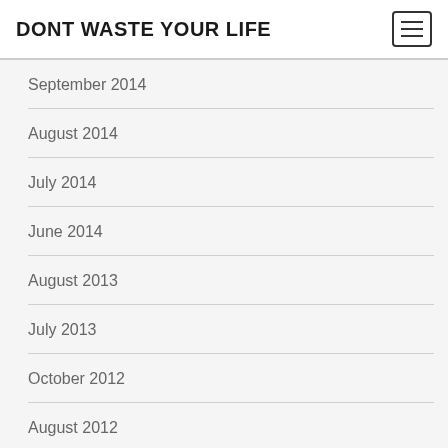DONT WASTE YOUR LIFE
September 2014
August 2014
July 2014
June 2014
August 2013
July 2013
October 2012
August 2012
July 2012
April 2012